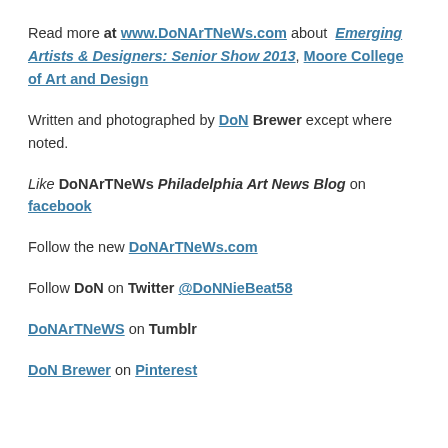Read more at www.DoNArTNeWs.com about Emerging Artists & Designers: Senior Show 2013, Moore College of Art and Design
Written and photographed by DoN Brewer except where noted.
Like DoNArTNeWs Philadelphia Art News Blog on facebook
Follow the new DoNArTNeWs.com
Follow DoN on Twitter @DoNNieBeat58
DoNArTNeWS on Tumblr
DoN Brewer on Pinterest